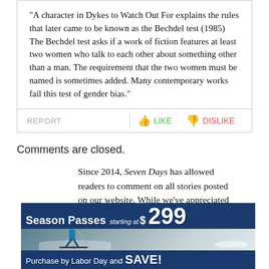"A character in Dykes to Watch Out For explains the rules that later came to be known as the Bechdel test (1985) The Bechdel test asks if a work of fiction features at least two women who talk to each other about something other than a man. The requirement that the two women must be named is sometimes added. Many contemporary works fail this test of gender bias."
REPORT   LIKE   DISLIKE
Comments are closed.
Since 2014, Seven Days has allowed readers to comment on all stories posted on our website. While we've appreciated the suggestions and insights, the time has come to shut them down — at least temporarily.
[Figure (infographic): Advertisement banner for season passes starting at $299, showing a skier on a snowy slope, with text 'Purchase by Labor Day and SAVE!']